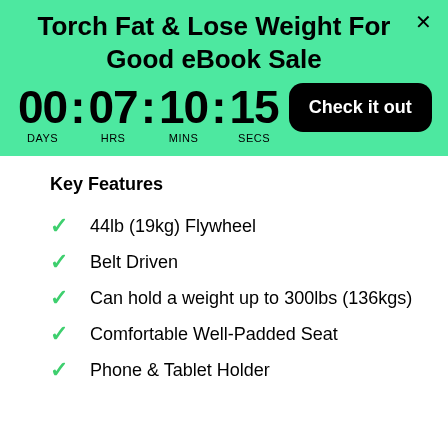Torch Fat & Lose Weight For Good eBook Sale
00 : 07 : 10 : 15 DAYS HRS MINS SECS
Check it out
Key Features
44lb (19kg) Flywheel
Belt Driven
Can hold a weight up to 300lbs (136kgs)
Comfortable Well-Padded Seat
Phone & Tablet Holder